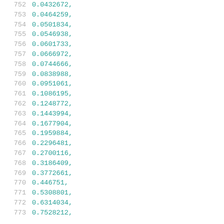752    0.0432672,
753    0.0464259,
754    0.0501834,
755    0.0546938,
756    0.0601733,
757    0.0666972,
758    0.0744666,
759    0.0838988,
760    0.0951061,
761    0.1086195,
762    0.1248772,
763    0.1443994,
764    0.1677904,
765    0.1959884,
766    0.2296481,
767    0.2700116,
768    0.3186409,
769    0.3772661,
770    0.446751,
771    0.5308801,
772    0.6314034,
773    0.7528212,